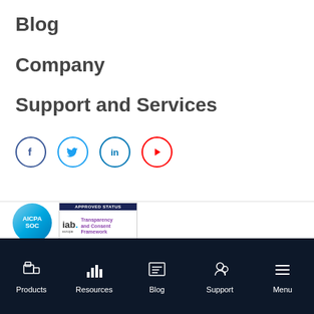Blog
Company
Support and Services
[Figure (illustration): Social media icons: Facebook (dark blue circle), Twitter (light blue circle), LinkedIn (light blue circle), YouTube (red circle)]
[Figure (logo): AICPA SOC badge - blue circular badge]
[Figure (logo): IAB Europe Transparency and Consent Framework approved status badge]
Products | Resources | Blog | Support | Menu